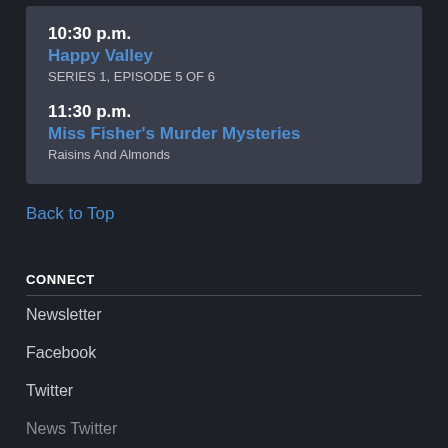10:30 p.m.
Happy Valley
SERIES 1, EPISODE 5 OF 6
11:30 p.m.
Miss Fisher's Murder Mysteries
Raisins And Almonds
Back to Top
CONNECT
Newsletter
Facebook
Twitter
News Twitter